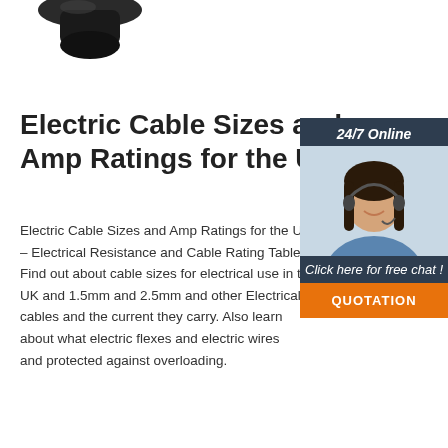[Figure (photo): Partial black cable connector/plug visible at the top of the page]
Electric Cable Sizes and Amp Ratings for the UK
Electric Cable Sizes and Amp Ratings for the UK – Electrical Resistance and Cable Rating Tables. Find out about cable sizes for electrical use in the UK and 1.5mm and 2.5mm and other Electrical cables and the current they carry. Also learn about what electric flexes and electric wires and protected against overloading.
[Figure (photo): Customer support woman with headset smiling, 24/7 Online chat panel on dark blue background with orange QUOTATION button]
Get Price